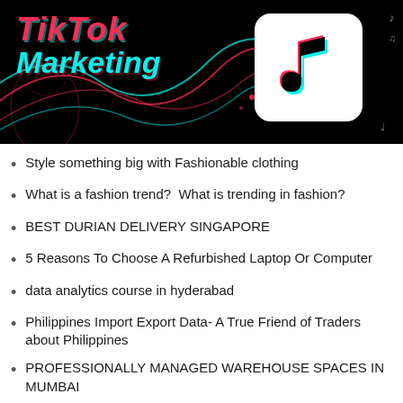[Figure (illustration): TikTok Marketing banner image with black background, showing 'TikTok Marketing' text in red/italic and cyan/bold, with TikTok logo (musical note icon in white square with cyan and red shadow) on the right, decorative guitar curves and music notes]
Style something big with Fashionable clothing
What is a fashion trend?  What is trending in fashion?
BEST DURIAN DELIVERY SINGAPORE
5 Reasons To Choose A Refurbished Laptop Or Computer
data analytics course in hyderabad
Philippines Import Export Data- A True Friend of Traders about Philippines
PROFESSIONALLY MANAGED WAREHOUSE SPACES IN MUMBAI